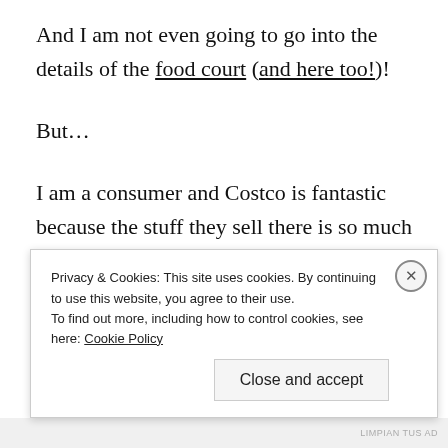And I am not even going to go into the details of the food court (and here too!)!
But…
I am a consumer and Costco is fantastic because the stuff they sell there is so much better than any other bog standard Homeplus or Emart, and that's a fact; (generally speaking) better meat, better fruit, better
Privacy & Cookies: This site uses cookies. By continuing to use this website, you agree to their use. To find out more, including how to control cookies, see here: Cookie Policy
Close and accept